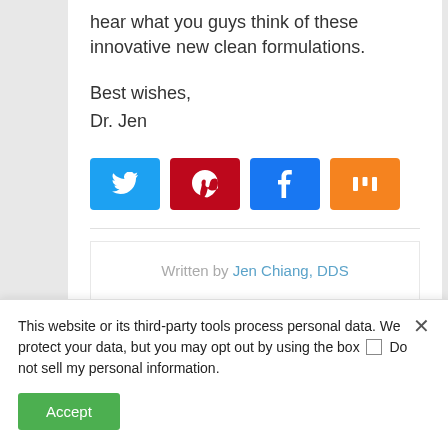hear what you guys think of these innovative new clean formulations.
Best wishes,
Dr. Jen
[Figure (infographic): Four social media share buttons: Twitter (blue), Pinterest (red), Facebook (dark blue), Mix (orange)]
Written by Jen Chiang, DDS
This website or its third-party tools process personal data. We protect your data, but you may opt out by using the box  Do not sell my personal information.
Accept